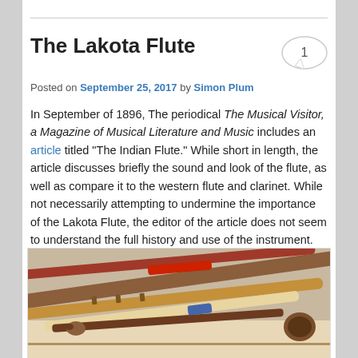The Lakota Flute
Posted on September 25, 2017 by Simon Plum
In September of 1896, The periodical The Musical Visitor, a Magazine of Musical Literature and Music includes an article titled "The Indian Flute." While short in length, the article discusses briefly the sound and look of the flute, as well as compare it to the western flute and clarinet. While not necessarily attempting to undermine the importance of the Lakota Flute, the editor of the article does not seem to understand the full history and use of the instrument.
[Figure (photo): Collection of Lakota flutes and decorated wooden instruments arranged on a surface]